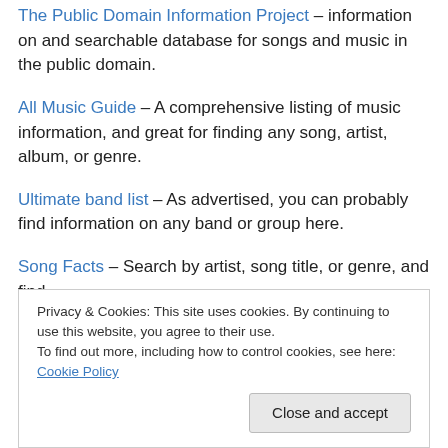The Public Domain Information Project – information on and searchable database for songs and music in the public domain.
All Music Guide – A comprehensive listing of music information, and great for finding any song, artist, album, or genre.
Ultimate band list – As advertised, you can probably find information on any band or group here.
Song Facts – Search by artist, song title, or genre, and find…
Privacy & Cookies: This site uses cookies. By continuing to use this website, you agree to their use. To find out more, including how to control cookies, see here: Cookie Policy